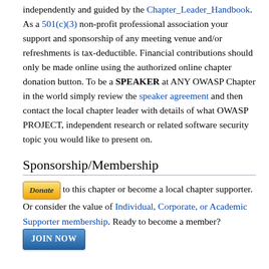independently and guided by the Chapter_Leader_Handbook. As a 501(c)(3) non-profit professional association your support and sponsorship of any meeting venue and/or refreshments is tax-deductible. Financial contributions should only be made online using the authorized online chapter donation button. To be a SPEAKER at ANY OWASP Chapter in the world simply review the speaker agreement and then contact the local chapter leader with details of what OWASP PROJECT, independent research or related software security topic you would like to present on.
Sponsorship/Membership
Donate to this chapter or become a local chapter supporter. Or consider the value of Individual, Corporate, or Academic Supporter membership. Ready to become a member? JOIN NOW
Sponsorship/Membership
Consider the value of Individual, Corporate, or Academic...